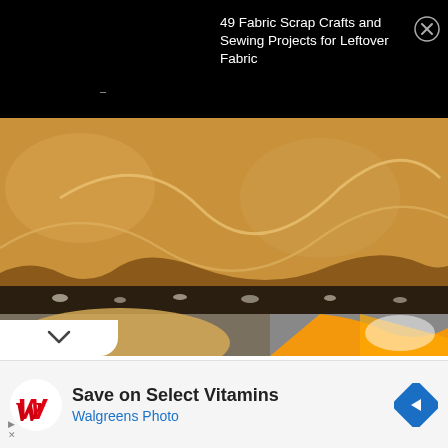49 Fabric Scrap Crafts and Sewing Projects for Leftover Fabric
[Figure (photo): Close-up photo of peanut butter cheesecake or similar dessert showing a thick caramel/peanut butter layer on a dark chocolate/oreo crust, with swirled texture on top. Below is a split view showing a cookie cutter shape on the left and an orange liquid being poured on the right.]
Save on Select Vitamins
Walgreens Photo